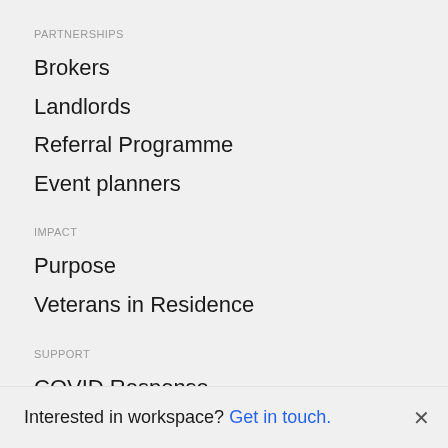PARTNERSHIPS
Brokers
Landlords
Referral Programme
Event planners
IMPACT
Purpose
Veterans in Residence
SUPPORT
COVID Response
FAQ
Interested in workspace? Get in touch.